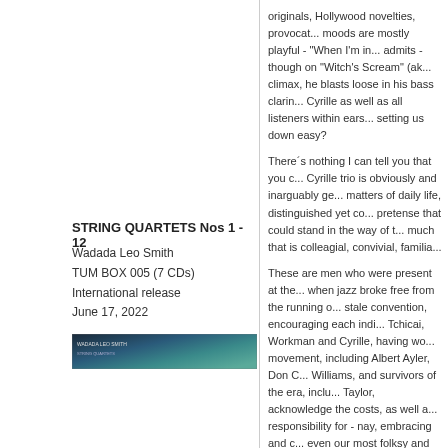originals, Hollywood novelties, provocat... moods are mostly playful - "When I'm in... admits - though on "Witch's Scream" (ak... climax, he blasts loose in his bass clarin... Cyrille as well as all listeners within ears... setting us down easy?
STRING QUARTETS Nos 1 - 12
Wadada Leo Smith
TUM BOX 005 (7 CDs)
International release
June 17, 2022
[Figure (photo): Album cover thumbnail for String Quartets Nos 1-12 with teal/blue gradient]
There´s nothing I can tell you that you c... Cyrille trio is obviously and inarguably ge... matters of daily life, distinguished yet co... pretense that could stand in the way of t... much that is colleagial, convivial, familia...
These are men who were present at the... when jazz broke free from the running o... stale convention, encouraging each indi... Tchicai, Workman and Cyrille, having wo... movement, including Albert Ayler, Don C... Williams, and survivors of the era, inclu... Taylor, acknowledge the costs, as well a... responsibility for - nay, embracing and c... even our most folksy and least fussy mu... music of the 1980s promoted. Tchicai, W... the generation that emphasized the delib... the same options and respect that practi... proclaimed, enjoyed.
THE EMERALD DUETS
Wadada Leo Smith
TUM BOX 006 (5 CDs)
International release
June 17, 2022
Amazingly, this was the first musical coll... has frequently performed and recorded...